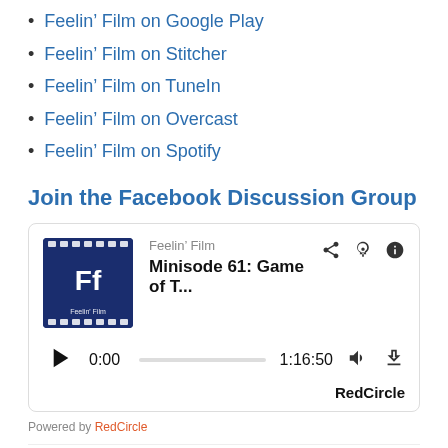Feelin’ Film on Google Play
Feelin’ Film on Stitcher
Feelin’ Film on TuneIn
Feelin’ Film on Overcast
Feelin’ Film on Spotify
Join the Facebook Discussion Group
[Figure (screenshot): Podcast player widget for Feelin’ Film episode 'Minisode 61: Game of T...' showing timestamp 0:00 and duration 1:16:50, powered by RedCircle]
Powered by RedCircle
Support us on Patreon & get awesome rewards: